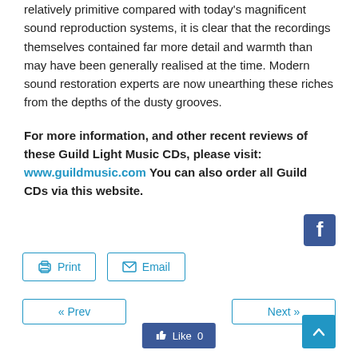relatively primitive compared with today's magnificent sound reproduction systems, it is clear that the recordings themselves contained far more detail and warmth than may have been generally realised at the time. Modern sound restoration experts are now unearthing these riches from the depths of the dusty grooves.
For more information, and other recent reviews of these Guild Light Music CDs, please visit: www.guildmusic.com You can also order all Guild CDs via this website.
[Figure (logo): Facebook icon button (blue square with white 'f' logo)]
[Figure (other): Print button with printer icon]
[Figure (other): Email button with envelope icon]
[Figure (other): Previous page navigation button (« Prev)]
[Figure (other): Next page navigation button (Next »)]
[Figure (other): Facebook Like button showing count 0]
[Figure (other): Scroll to top button (blue with upward chevron)]